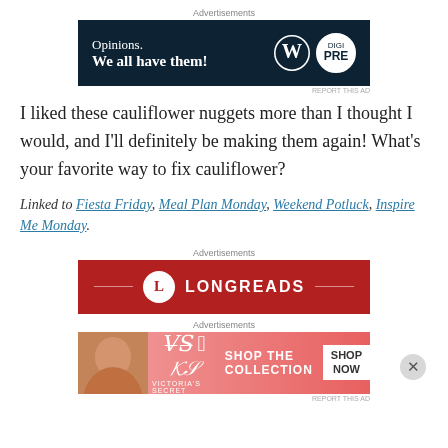[Figure (other): Advertisement banner with dark navy background showing 'Opinions. We all have them!' with WordPress and another logo]
I liked these cauliflower nuggets more than I thought I would, and I'll definitely be making them again! What's your favorite way to fix cauliflower?
Linked to Fiesta Friday, Meal Plan Monday, Weekend Potluck, Inspire Me Monday.
[Figure (other): Advertisement banner for Longreads with red background and white text]
[Figure (other): Advertisement banner for Victoria's Secret showing model and 'SHOP THE COLLECTION' text with SHOP NOW button]